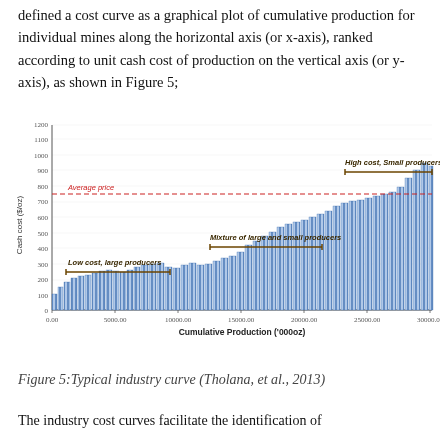defined a cost curve as a graphical plot of cumulative production for individual mines along the horizontal axis (or x-axis), ranked according to unit cash cost of production on the vertical axis (or y-axis), as shown in Figure 5;
[Figure (bar-chart): Bar chart showing cumulative gold production on horizontal axis vs cash cost ($/oz) on vertical axis. Bars increase in height from left to right. Three annotated regions: 'Low cost, large producers' (left), 'Mixture of large and small producers' (middle), 'High cost, Small producers' (right). A red dashed horizontal line indicates 'Average price' at approximately 750 $/oz.]
Figure 5:Typical industry curve (Tholana, et al., 2013)
The industry cost curves facilitate the identification of